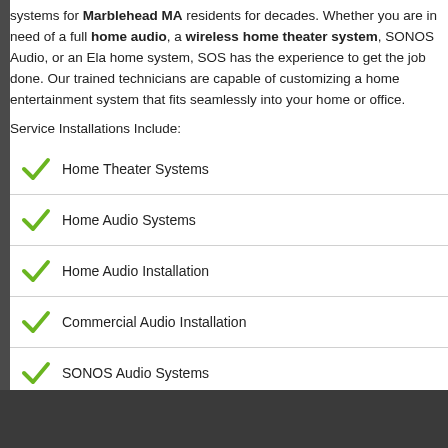systems for Marblehead MA residents for decades. Whether you are in need of a full home audio, a wireless home theater system, SONOS Audio, or an Elan home system, SOS has the experience to get the job done. Our trained technicians are capable of customizing a home entertainment system that fits seamlessly into your home or office.
Service Installations Include:
Home Theater Systems
Home Audio Systems
Home Audio Installation
Commercial Audio Installation
SONOS Audio Systems
Elan Home Systems
Home Theater Speaker Installation
Home Audio Speaker Installation